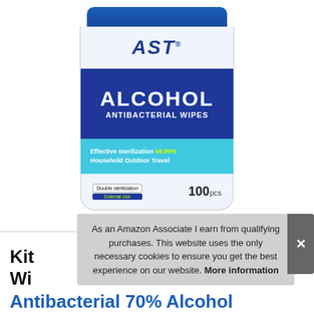[Figure (photo): AST brand Alcohol Antibacterial Wipes canister, 100pcs, showing blue cap, white body with AST logo, blue label band with ALCOHOL ANTIBACTERIAL WIPES text, cyan stripe with 'Effective sterilization 99.99% Household Outdoor Travel', and white bottom with 'Double sterilization External Use' badge and '100pcs' count]
As an Amazon Associate I earn from qualifying purchases. This website uses the only necessary cookies to ensure you get the best experience on our website. More information
Kit... Wi... Antibacterial 70% Alcohol Cleaning